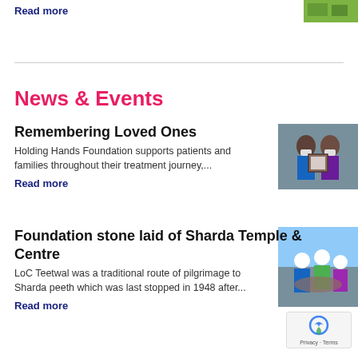Read more
[Figure (photo): Small green thumbnail image in top-right corner]
News & Events
Remembering Loved Ones
Holding Hands Foundation supports patients and families throughout their treatment journey,...
Read more
[Figure (photo): Two women wearing masks holding a framed award]
Foundation stone laid of Sharda Temple & Centre
LoC Teetwal was a traditional route of pilgrimage to Sharda peeth which was last stopped in 1948 after...
Read more
[Figure (photo): People working at a foundation stone laying ceremony]
[Figure (other): reCAPTCHA badge with Privacy and Terms links]